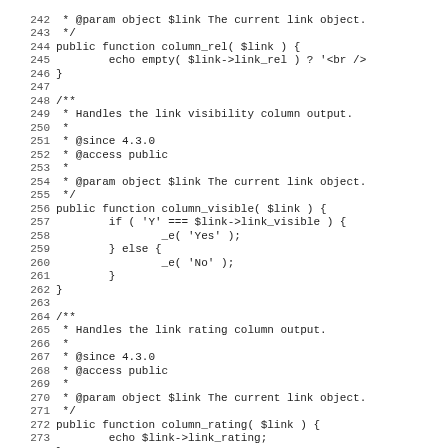Code listing lines 242-274 showing PHP class methods column_rel, column_visible, column_rating with docblock comments